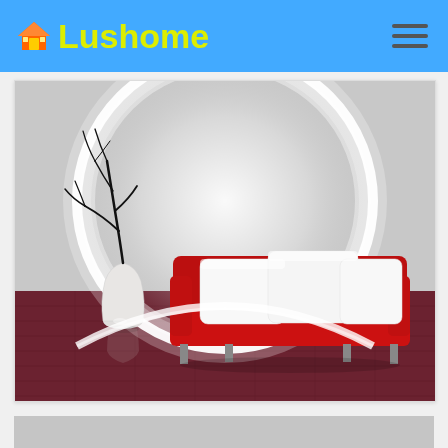Lushome
[Figure (photo): Modern living room interior with a large circular glowing light fixture on the wall, a red sofa with white cushions on a dark wood floor, and a decorative black branch in a white vase.]
[Figure (photo): Partial view of a second interior image at the bottom of the page, content not fully visible.]